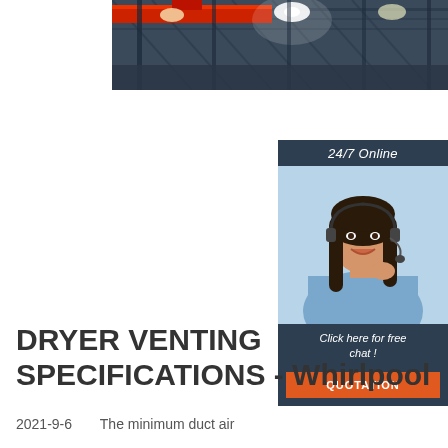[Figure (photo): Warehouse interior with overhead crane, industrial lighting, and metal roof structure — dark industrial setting with red crane beam]
[Figure (illustration): 24/7 Online chat widget showing a smiling customer service woman with a headset, dark navy background, with 'Click here for free chat!' text and orange QUOTATION button]
DRYER VENTING SPECIFICATIONS - Whirlpool
2021-9-6u2003u2003The minimum duct air